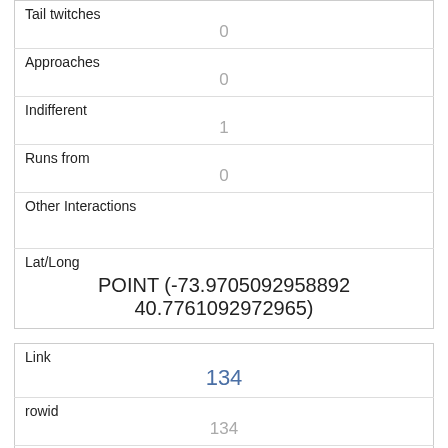| Tail twitches | 0 |
| Approaches | 0 |
| Indifferent | 1 |
| Runs from | 0 |
| Other Interactions |  |
| Lat/Long | POINT (-73.9705092958892 40.7761092972965) |
| Link | 134 |
| rowid | 134 |
| longitude | -73.9575943815564 |
| latitude |  |